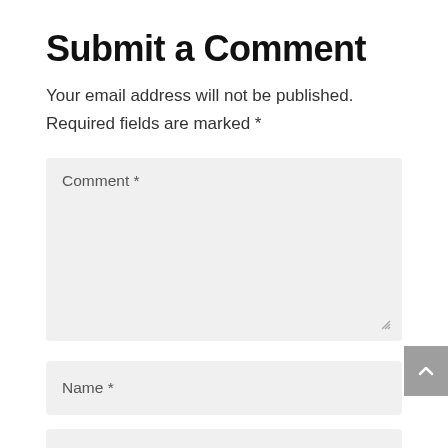Submit a Comment
Your email address will not be published.
Required fields are marked *
Comment *
Name *
Email *